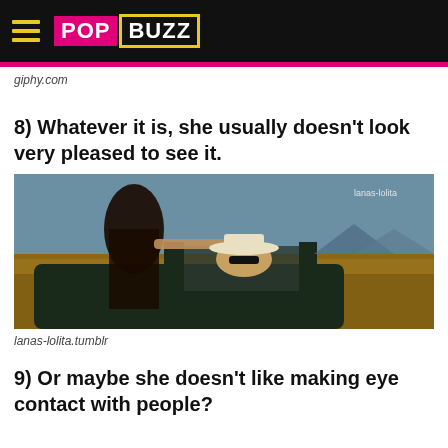PopBuzz
giphy.com
8) Whatever it is, she usually doesn't look very pleased to see it.
[Figure (photo): A woman in a dark outfit standing over a vintage car with a man wearing a hat and sunglasses sitting in the driver's seat, set against a golden field background. Watermark reads 'lanas-lolita']
lanas-lolita.tumblr
9) Or maybe she doesn't like making eye contact with people?